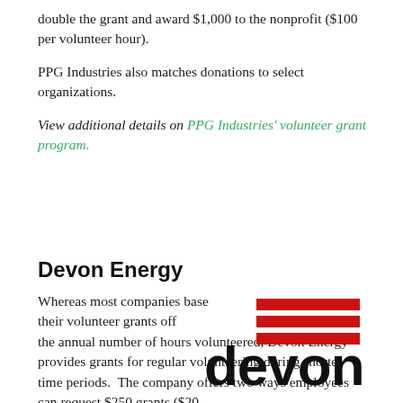double the grant and award $1,000 to the nonprofit ($100 per volunteer hour).
PPG Industries also matches donations to select organizations.
View additional details on PPG Industries' volunteer grant program.
Devon Energy
[Figure (logo): Devon Energy logo with three red horizontal bars above the word 'devon' in bold black lowercase letters]
Whereas most companies base their volunteer grants off the annual number of hours volunteered, Devon Energy provides grants for regular volunteering during shorter time periods.  The company offers two ways employees can request $250 grants ($20